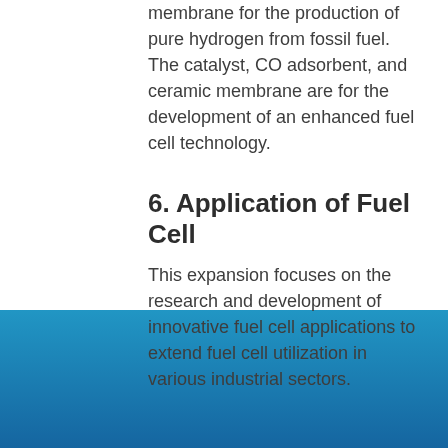membrane for the production of pure hydrogen from fossil fuel. The catalyst, CO adsorbent, and ceramic membrane are for the development of an enhanced fuel cell technology.
6. Application of Fuel Cell
This expansion focuses on the research and development of innovative fuel cell applications to extend fuel cell utilization in various industrial sectors.